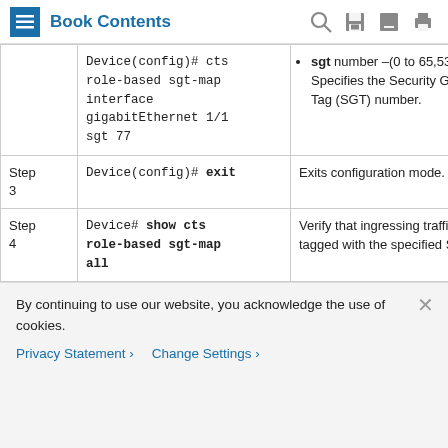Book Contents
|  | Command or Action | Purpose |
| --- | --- | --- |
|  | Device(config)# cts role-based sgt-map interface gigabitEthernet 1/1 sgt 77 | sgt number –(0 to 65,535). Specifies the Security Group Tag (SGT) number. |
| Step 3 | Device(config)# exit | Exits configuration mode. |
| Step 4 | Device# show cts role-based sgt-map all | Verify that ingressing traffic is tagged with the specified SGT. |
By continuing to use our website, you acknowledge the use of cookies.
Privacy Statement > Change Settings >